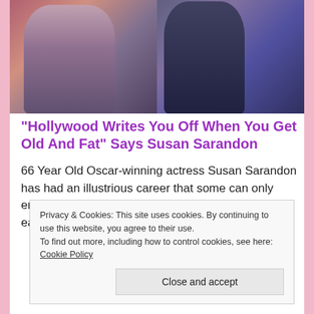[Figure (photo): Two women posing for a fashion photo shoot. Left woman wearing sparkly top and camo-print outfit, right woman wearing dark ruffled blouse.]
“Hollywood Writes You Off When You Get Old And Fat” Says Susan Sarandon
66 Year Old Oscar-winning actress Susan Sarandon has had an illustrious career that some can only envy or dream of. But it has not always been an easy road, and [...]
Privacy & Cookies: This site uses cookies. By continuing to use this website, you agree to their use.
To find out more, including how to control cookies, see here: Cookie Policy
Close and accept